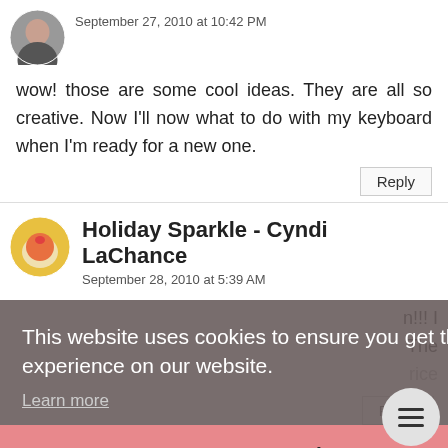[Figure (photo): Small circular avatar photo of a person at top left]
September 27, 2010 at 10:42 PM
wow! those are some cool ideas. They are all so creative. Now I'll now what to do with my keyboard when I'm ready for a new one.
Reply
[Figure (photo): Small circular avatar with holiday/Santa pig figurine image]
Holiday Sparkle - Cyndi LaChance
September 28, 2010 at 5:39 AM
n!!! I The rice
This website uses cookies to ensure you get the best experience on our website.
Learn more
Got it!
Reply